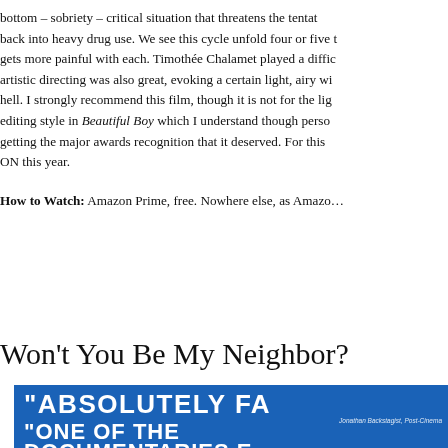bottom – sobriety – critical situation that threatens the tentative sobriety – fall back into heavy drug use. We see this cycle unfold four or five times, and it gets more painful with each. Timothée Chalamet played a difficult role well. The artistic directing was also great, evoking a certain light, airy world vs. a dark hell. I strongly recommend this film, though it is not for the light-hearted. The editing style in Beautiful Boy which I understand though personally found the … getting the major awards recognition that it deserved. For this … ON this year.
How to Watch: Amazon Prime, free. Nowhere else, as Amazo…
Won't You Be My Neighbor?
[Figure (photo): Movie poster with blue background showing partial text: 'ABSOLUTELY FA' and 'ONE OF THE DOCUMENTARIES E' in white bold letters]